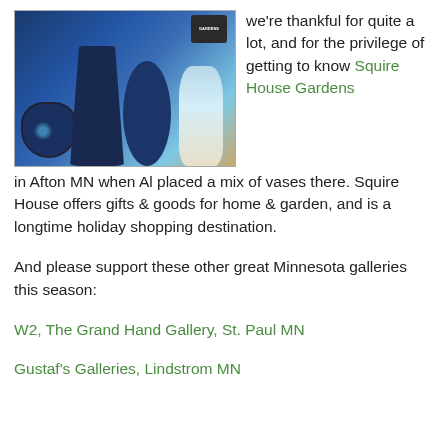[Figure (photo): Photo of decorative glass vases in blue, teal, and cream tones displayed on a surface, with a circular garden logo badge in the top right corner of the image.]
we're thankful for quite a lot, and for the privilege of getting to know Squire House Gardens in Afton MN when Al placed a mix of vases there. Squire House offers gifts & goods for home & garden, and is a longtime holiday shopping destination.
And please support these other great Minnesota galleries this season:
W2, The Grand Hand Gallery, St. Paul MN
Gustaf's Galleries, Lindstrom MN